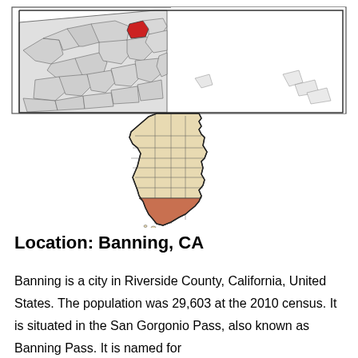[Figure (map): Map of Riverside County, California showing cities/municipalities with Banning highlighted in red]
[Figure (map): Map of California state showing counties with Riverside County highlighted in orange/salmon]
Location: Banning, CA
Banning is a city in Riverside County, California, United States. The population was 29,603 at the 2010 census. It is situated in the San Gorgonio Pass, also known as Banning Pass. It is named for